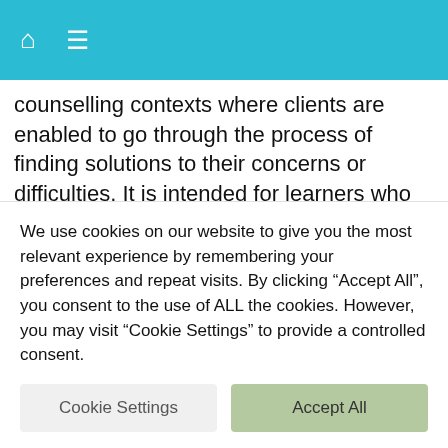Home / Menu navigation bar
counselling contexts where clients are enabled to go through the process of finding solutions to their concerns or difficulties. It is intended for learners who counsel people in a variety of situations Lay Counselling Course through elearning Counselling people with HIV/AIDS is not only a gift Lay Counselling Course through elearning Our elearning course follows a Person-Centred approach to counselling which emphasises that every individual has within themselves the capacities and abilities needed to grow towards wholeness
We use cookies on our website to give you the most relevant experience by remembering your preferences and repeat visits. By clicking "Accept All", you consent to the use of ALL the cookies. However, you may visit "Cookie Settings" to provide a controlled consent.